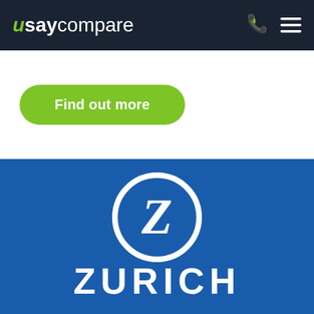usaycompare
[Figure (logo): usaycompare navigation bar with logo, phone icon, and hamburger menu on dark navy background]
[Figure (other): Green rounded button labeled 'Find out more' on white background]
[Figure (logo): Zurich Insurance logo — white Z in a circle above the text ZURICH on a blue background]